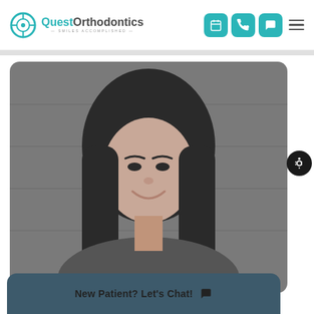[Figure (logo): Quest Orthodontics logo with circular crosshair icon and tagline 'smiles accomplished']
[Figure (screenshot): Navigation bar with calendar, phone, and chat icon buttons in teal, plus hamburger menu]
[Figure (photo): Grayscale photo of a smiling woman with long dark hair against a brick wall background]
New Patient? Let's Chat!